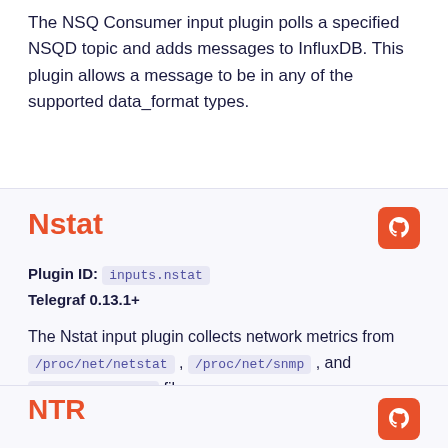The NSQ Consumer input plugin polls a specified NSQD topic and adds messages to InfluxDB. This plugin allows a message to be in any of the supported data_format types.
Nstat
Plugin ID: inputs.nstat
Telegraf 0.13.1+
The Nstat input plugin collects network metrics from /proc/net/netstat , /proc/net/snmp , and /proc/net/snmp6 files.
NTR